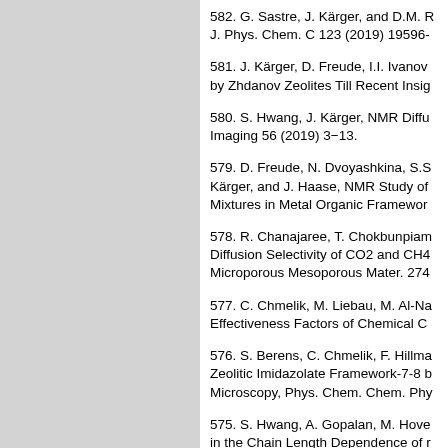582. G. Sastre, J. Kärger, and D.M. R... J. Phys. Chem. C 123 (2019) 19596-
581. J. Kärger, D. Freude, I.I. Ivanov... by Zhdanov Zeolites Till Recent Insig
580. S. Hwang, J. Kärger, NMR Diffu... Imaging 56 (2019) 3−13.
579. D. Freude, N. Dvoyashkina, S.S... Kärger, and J. Haase, NMR Study of Mixtures in Metal Organic Framewor
578. R. Chanajaree, T. Chokbunpiam... Diffusion Selectivity of CO2 and CH4 Microporous Mesoporous Mater. 274
577. C. Chmelik, M. Liebau, M. Al-Na... Effectiveness Factors of Chemical C
576. S. Berens, C. Chmelik, F. Hillma... Zeolitic Imidazolate Framework-7-8 b Microscopy, Phys. Chem. Chem. Phy
575. S. Hwang, A. Gopalan, M. Hove... in the Chain Length Dependence of r 668.